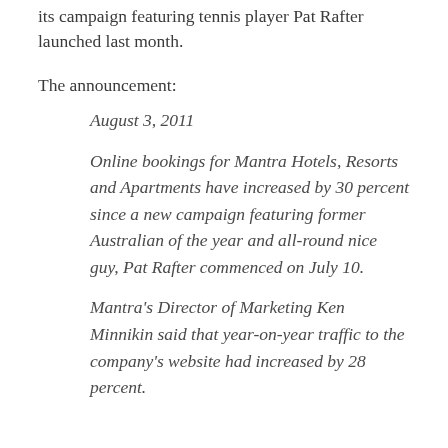its campaign featuring tennis player Pat Rafter launched last month.
The announcement:
August 3, 2011
Online bookings for Mantra Hotels, Resorts and Apartments have increased by 30 percent since a new campaign featuring former Australian of the year and all-round nice guy, Pat Rafter commenced on July 10.
Mantra's Director of Marketing Ken Minnikin said that year-on-year traffic to the company's website had increased by 28 percent.